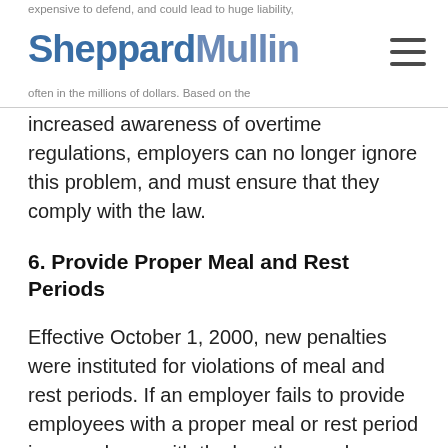expensive to defend, and could lead to huge liability, often in the millions of dollars. Based on the
increased awareness of overtime regulations, employers can no longer ignore this problem, and must ensure that they comply with the law.
6. Provide Proper Meal and Rest Periods
Effective October 1, 2000, new penalties were instituted for violations of meal and rest periods. If an employer fails to provide employees with a proper meal or rest period in accordance with the law, the employer must pay a penalty of one additional hour of pay at the employee's regular rate of compensation for each work day that the meal or rest period is not provided, up to a maximum of 2 hours pay per day for each employee. Accordingly,